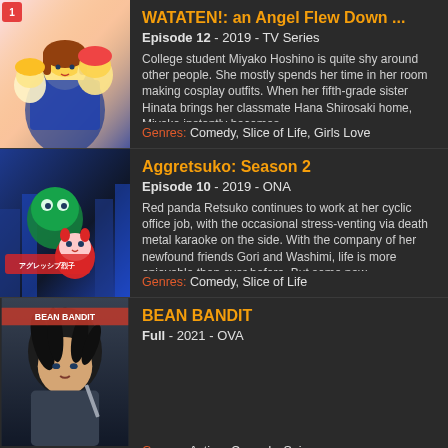[Figure (illustration): Anime cover art for WATATEN!: an Angel Flew Down - showing anime girl characters in colorful art style]
WATATEN!: an Angel Flew Down ...
Episode 12 - 2019 - TV Series
College student Miyako Hoshino is quite shy around other people. She mostly spends her time in her room making cosplay outfits. When her fifth-grade sister Hinata brings her classmate Hana Shirosaki home, Miyako instantly becomes...
Genres: Comedy, Slice of Life, Girls Love
[Figure (illustration): Anime cover art for Aggretsuko Season 2 - showing red panda and other characters on dark blue background]
Aggretsuko: Season 2
Episode 10 - 2019 - ONA
Red panda Retsuko continues to work at her cyclic office job, with the occasional stress-venting via death metal karaoke on the side. With the company of her newfound friends Gori and Washimi, life is more enjoyable than ever before. But some new...
Genres: Comedy, Slice of Life
[Figure (illustration): Anime cover art for Bean Bandit - showing a dark haired character with BEAN BANDIT text]
BEAN BANDIT
Full - 2021 - OVA
Genres: Action, Comedy, Seinen